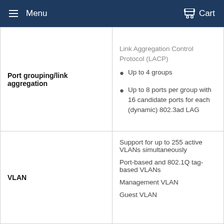Menu  Cart
| Feature | Details |
| --- | --- |
| Port grouping/link aggregation | Link Aggregation Control Protocol (LACP)
• Up to 4 groups
• Up to 8 ports per group with 16 candidate ports for each (dynamic) 802.3ad LAG |
| VLAN | Support for up to 255 active VLANs simultaneously
Port-based and 802.1Q tag-based VLANs
Management VLAN
Guest VLAN |